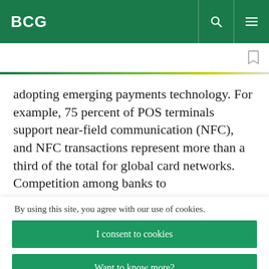BCG
adopting emerging payments technology. For example, 75 percent of POS terminals support near-field communication (NFC), and NFC transactions represent more than a third of the total for global card networks. Competition among banks to
By using this site, you agree with our use of cookies.
I consent to cookies
Want to know more?
Read our Cookie Policy